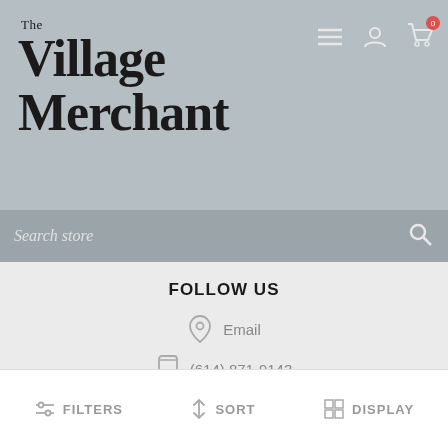The Village Merchant
Search store
FOLLOW US
Email
(614) 871-9143
CUSTOMER SERVICE
INFORMATION
FILTERS  SORT  DISPLAY